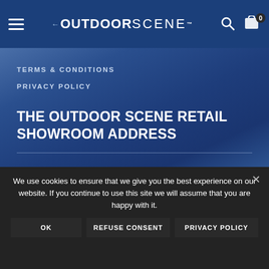OutdoorScene™ navigation bar with hamburger menu, logo, search and cart icons
TERMS & CONDITIONS
PRIVACY POLICY
THE OUTDOOR SCENE RETAIL SHOWROOM ADDRESS
We use cookies to ensure that we give you the best experience on our website. If you continue to use this site we will assume that you are happy with it.
OK  REFUSE CONSENT  PRIVACY POLICY